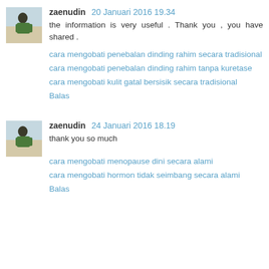[Figure (photo): Avatar photo of zaenudin - person in green jacket outdoors]
zaenudin 20 Januari 2016 19.34
the information is very useful . Thank you , you have shared .
cara mengobati penebalan dinding rahim secara tradisional
cara mengobati penebalan dinding rahim tanpa kuretase
cara mengobati kulit gatal bersisik secara tradisional
Balas
[Figure (photo): Avatar photo of zaenudin - person in green jacket outdoors]
zaenudin 24 Januari 2016 18.19
thank you so much
cara mengobati menopause dini secara alami
cara mengobati hormon tidak seimbang secara alami
Balas